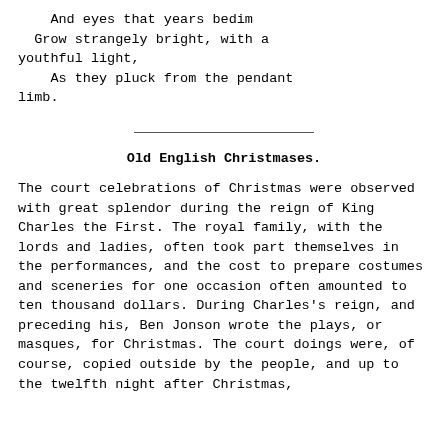And eyes that years bedim
    Grow strangely bright, with a youthful light,
        As they pluck from the pendant limb.
Old English Christmases.
The court celebrations of Christmas were observed with great splendor during the reign of King Charles the First. The royal family, with the lords and ladies, often took part themselves in the performances, and the cost to prepare costumes and sceneries for one occasion often amounted to ten thousand dollars. During Charles's reign, and preceding his, Ben Jonson wrote the plays, or masques, for Christmas. The court doings were, of course, copied outside by the people, and up to the twelfth night after Christmas,